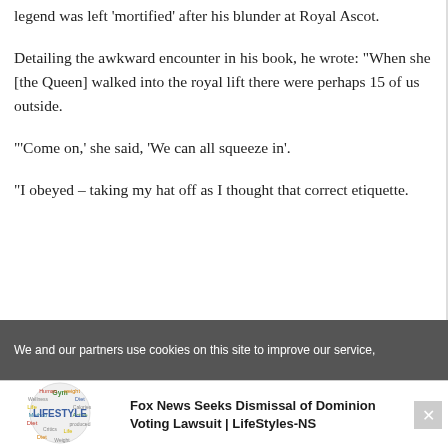legend was left 'mortified' after his blunder at Royal Ascot.
Detailing the awkward encounter in his book, he wrote: "When she [the Queen] walked into the royal lift there were perhaps 15 of us outside.
'Come on,' she said, 'We can all squeeze in'.
"I obeyed – taking my hat off as I thought that correct etiquette.
We and our partners use cookies on this site to improve our service,
Fox News Seeks Dismissal of Dominion Voting Lawsuit | LifeStyles-NS